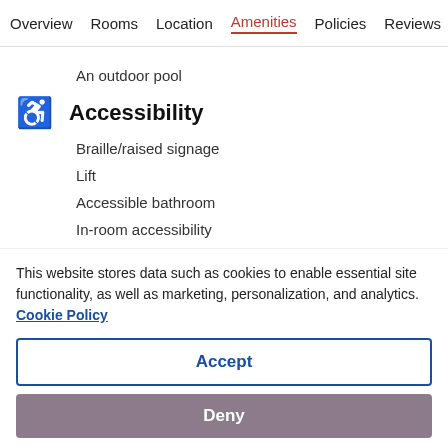Overview | Rooms | Location | Amenities | Policies | Reviews
An outdoor pool
Accessibility
Braille/raised signage
Lift
Accessible bathroom
In-room accessibility
Roll-in shower
Wheelchair-accessible path of travel
This website stores data such as cookies to enable essential site functionality, as well as marketing, personalization, and analytics. Cookie Policy
Accept
Deny